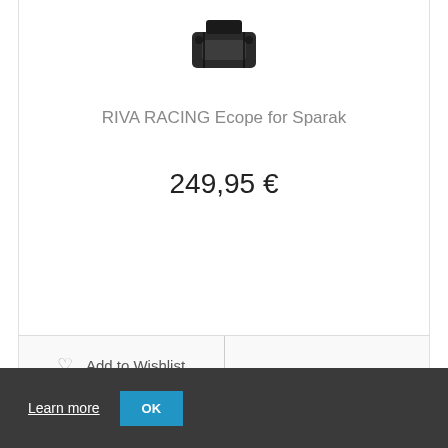[Figure (photo): Product image of RIVA RACING Ecope for Sparak, shown as a dark mechanical part/component on white background]
RIVA RACING Ecope for Sparak
249,95 €
Add to cart
♡ Add to Wishlist
Learn more
OK